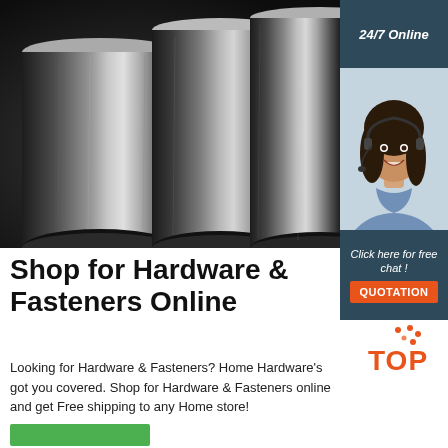[Figure (photo): Three cylindrical steel/metal rods photographed on a dark background, showing metallic grey finish]
[Figure (photo): 24/7 Online support panel with a smiling woman wearing a headset, dark blue-grey background, with 'Click here for free chat!' text and an orange QUOTATION button]
Shop for Hardware & Fasteners Online
Looking for Hardware & Fasteners? Home Hardware's got you covered. Shop for Hardware & Fasteners online and get Free shipping to any Home store!
[Figure (logo): Top logo with orange dots and 'TOP' text in orange with dot pattern]